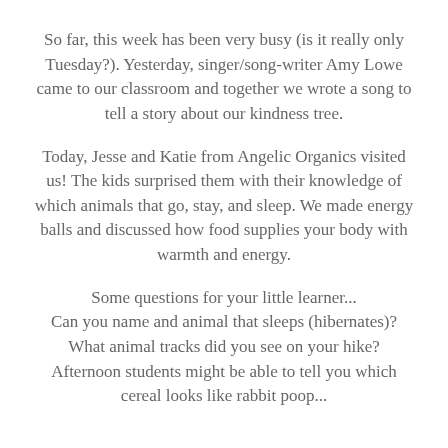So far, this week has been very busy (is it really only Tuesday?). Yesterday, singer/song-writer Amy Lowe came to our classroom and together we wrote a song to tell a story about our kindness tree.
Today, Jesse and Katie from Angelic Organics visited us! The kids surprised them with their knowledge of which animals that go, stay, and sleep. We made energy balls and discussed how food supplies your body with warmth and energy.
Some questions for your little learner...
Can you name and animal that sleeps (hibernates)?
What animal tracks did you see on your hike?
Afternoon students might be able to tell you which cereal looks like rabbit poop...